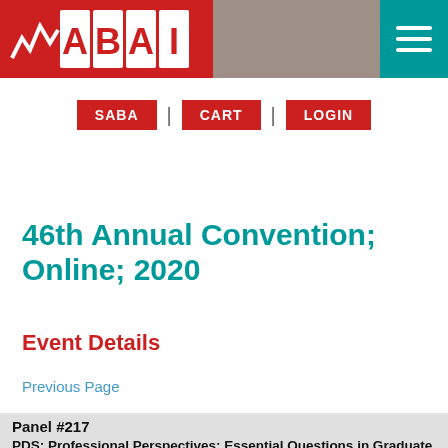ABAI | SABA | CART | LOGIN
46th Annual Convention; Online; 2020
Event Details
Previous Page
Panel #217
PDS: Professional Perspectives: Essential Questions in Graduate School for Professional Preparation in ABA